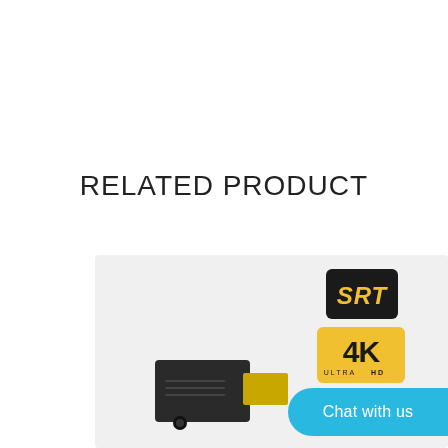RELATED PRODUCT
[Figure (photo): Product photo of an HDMI/audio adapter dongle with SRT and 4K Ultra HD logos, and a 'Chat with us' button overlay]